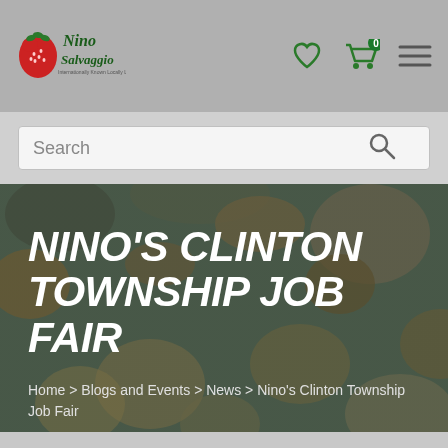[Figure (logo): Nino Salvaggio logo with strawberry graphic and text 'Nino Salvaggio Internationally Known Locally Loved']
Search
NINO'S CLINTON TOWNSHIP JOB FAIR
Home > Blogs and Events > News > Nino's Clinton Township Job Fair